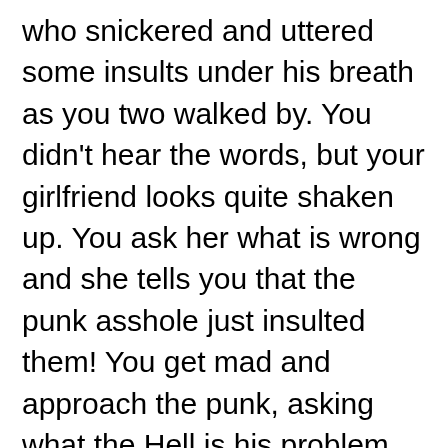who snickered and uttered some insults under his breath as you two walked by. You didn't hear the words, but your girlfriend looks quite shaken up. You ask her what is wrong and she tells you that the punk asshole just insulted them! You get mad and approach the punk, asking what the Hell is his problem. He tells you two that you are the only ones in the entire